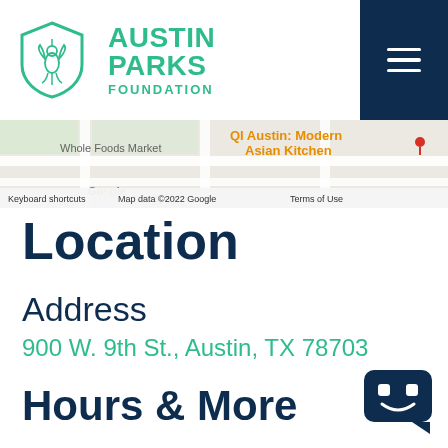[Figure (logo): Austin Parks Foundation logo with green hummingbird shield icon and green text reading AUSTIN PARKS FOUNDATION]
[Figure (map): Google Maps screenshot showing area near 900 W. 9th St. Austin, with labels for Whole Foods Market and QI Austin: Modern Asian Kitchen. Map data ©2022 Google. Keyboard shortcuts. Terms of Use.]
Location
Address
900 W. 9th St., Austin, TX 78703
Hours & More